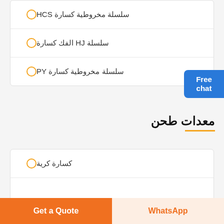سلسلة مخروطية كسارة HCS
سلسلة HJ الفك كسارة
سلسلة مخروطية كسارة PY
معدات طحن
كسارة كرية
[Figure (illustration): Customer service representative figure with Free chat button]
Get a Quote
WhatsApp